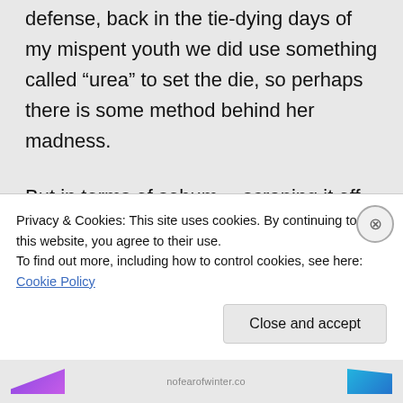defense, back in the tie-dying days of my mispent youth we did use something called “urea” to set the die, so perhaps there is some method behind her madness.
But in terms of sebum… scraping it off is a tad bit gross until you get used to it… but much less gross than having it on your hair!
Best of luck… let us know what
Privacy & Cookies: This site uses cookies. By continuing to use this website, you agree to their use.
To find out more, including how to control cookies, see here: Cookie Policy
Close and accept